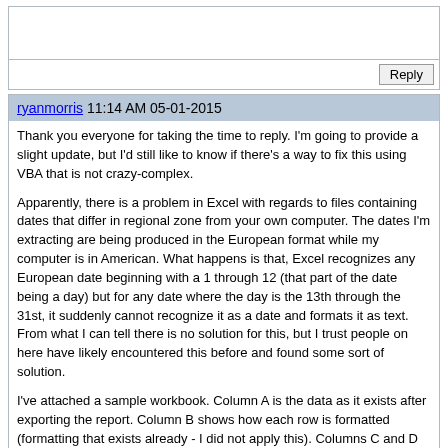[blank reply area]
Reply
ryanmorris 11:14 AM 05-01-2015
Thank you everyone for taking the time to reply. I'm going to provide a slight update, but I'd still like to know if there's a way to fix this using VBA that is not crazy-complex.

Apparently, there is a problem in Excel with regards to files containing dates that differ in regional zone from your own computer. The dates I'm extracting are being produced in the European format while my computer is in American. What happens is that, Excel recognizes any European date beginning with a 1 through 12 (that part of the date being a day) but for any date where the day is the 13th through the 31st, it suddenly cannot recognize it as a date and formats it as text. From what I can tell there is no solution for this, but I trust people on here have likely encountered this before and found some sort of solution.

I've attached a sample workbook. Column A is the data as it exists after exporting the report. Column B shows how each row is formatted (formatting that exists already - I did not apply this). Columns C and D show how the date and time should look.

Thank you again everyone!

Example.xlsx